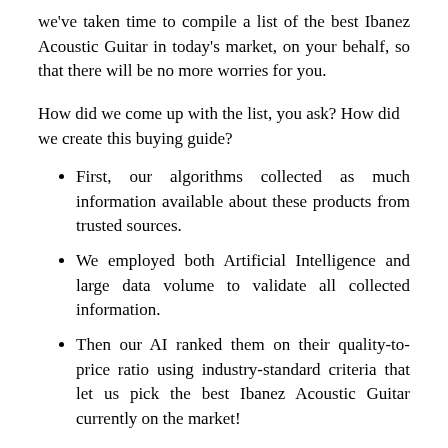we've taken time to compile a list of the best Ibanez Acoustic Guitar in today's market, on your behalf, so that there will be no more worries for you.
How did we come up with the list, you ask? How did we create this buying guide?
First, our algorithms collected as much information available about these products from trusted sources.
We employed both Artificial Intelligence and large data volume to validate all collected information.
Then our AI ranked them on their quality-to-price ratio using industry-standard criteria that let us pick the best Ibanez Acoustic Guitar currently on the market!